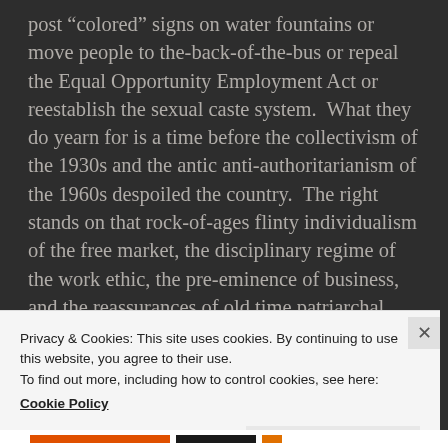post “colored” signs on water fountains or move people to the-back-of-the-bus or repeal the Equal Opportunity Employment Act or reestablish the sexual caste system.  What they do yearn for is a time before the collectivism of the 1930s and the antic anti-authoritarianism of the 1960s despoiled the country.  The right stands on that rock-of-ages flinty individualism of the free market, the disciplinary regime of the work ethic, the pre-eminence of business, and the reassurances of old time patriarchal morality.
Privacy & Cookies: This site uses cookies. By continuing to use this website, you agree to their use.
To find out more, including how to control cookies, see here:
Cookie Policy
Close and accept